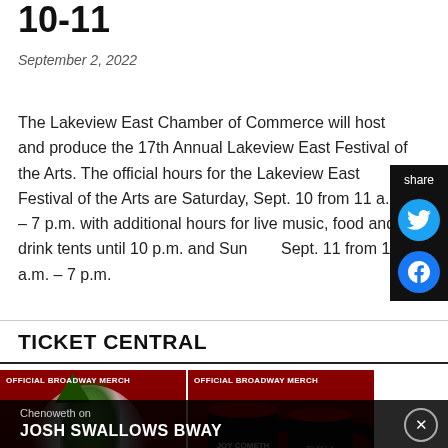10-11
September 2, 2022
The Lakeview East Chamber of Commerce will host and produce the 17th Annual Lakeview East Festival of the Arts. The official hours for the Lakeview East Festival of the Arts are Saturday, Sept. 10 from 11 a.m. – 7 p.m. with additional hours for live music, food and drink tents until 10 p.m. and Sunday, Sept. 11 from 11 a.m. – 7 p.m.
TICKET CENTRAL
[Figure (photo): Advertisement for Official Broadway Merch showing Wicked musical artwork with green witch and SHOP WICKED label]
[Figure (photo): Advertisement for Official Broadway Merch showing To Kill a Mockingbird mug with MOCKINGBIRD MUG label]
Chenoweth on JOSH SWALLOWS BWAY